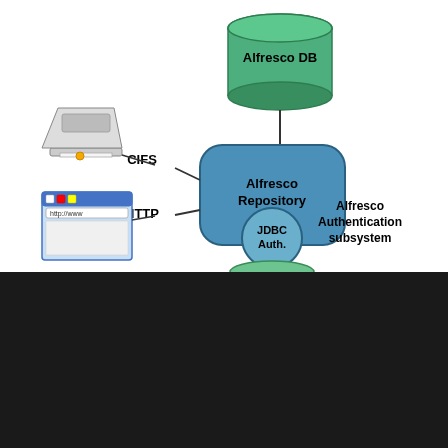[Figure (engineering-diagram): Architecture diagram showing Alfresco Repository connected to Alfresco DB (top, green cylinder), JDBC Auth subsystem (bottom circle), and Alfresco Authentication subsystem label on the right. On the left, a CIFS client (printer/scanner icon) and HTTP client (browser window icon) connect to the Alfresco Repository box. A partially visible green cylinder appears at the bottom.]
Zylk.net utiliza cookies propias y de terceros para mejorar el servicio y obtener información estadística sobre los hábitos de navegación. Si continua navegando, se considera que acepta su uso. Para más información, consulte el apartado cookies.
ENTENDIDO